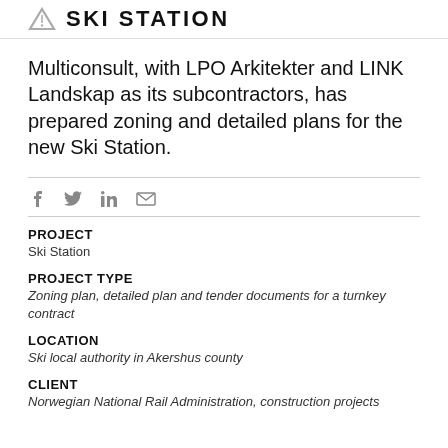SKI STATION
Multiconsult, with LPO Arkitekter and LINK Landskap as its subcontractors, has prepared zoning and detailed plans for the new Ski Station.
PROJECT
Ski Station
PROJECT TYPE
Zoning plan, detailed plan and tender documents for a turnkey contract
LOCATION
Ski local authority in Akershus county
CLIENT
Norwegian National Rail Administration, construction projects